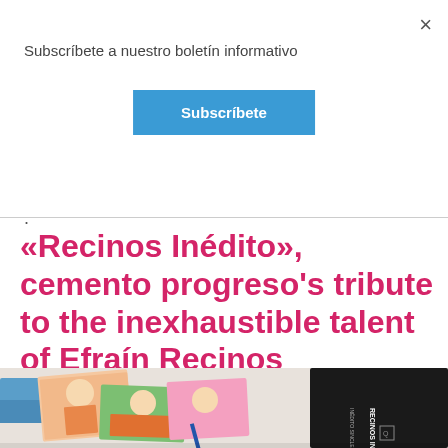Subscríbete a nuestro boletín informativo
Subscríbete
×
«Recinos Inédito», cemento progreso's tribute to the inexhaustible talent of Efraín Recinos
[Figure (photo): Photo of the Recinos Inédito book alongside colorful illustrated cards/booklets spread on a surface, with a dark hardcover book featuring 'RECINOS INÉDITO' on the spine.]